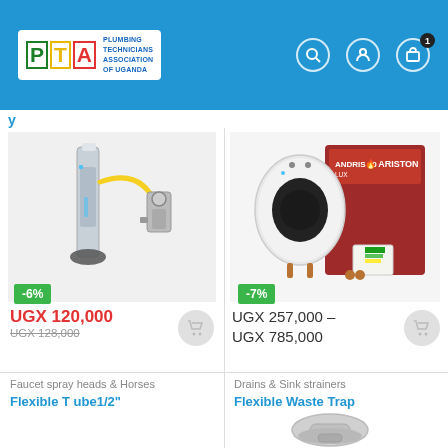[Figure (logo): PTA - Plumbing Technicians Association of Uganda logo with colored letter boxes]
[Figure (photo): Toilet cistern fill valve and flush mechanism product image with -6% discount badge]
UGX 120,000
UGX 128,000
[Figure (photo): Ariston Andris 10 LUX water heater product image with box, -7% discount badge]
UGX 257,000 – UGX 785,000
Faucet spray heads & Horses
Flexible Tube1/2"
Drains & Sink strainers
Flexible Waste Trap
[Figure (photo): Flexible waste trap plumbing component, partially visible at bottom of page]